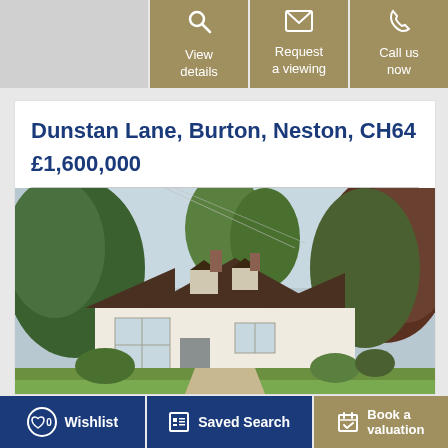[Figure (other): Three action buttons: View details (magnifier icon), Request a viewing (envelope icon), Call us now (phone icon), on khaki/tan background]
Dunstan Lane, Burton, Neston, CH64
£1,600,000
[Figure (photo): Exterior photo of a large detached house with pitched roof, dormer windows, white render, surrounded by mature trees and green lawn on a bright day]
0 Wishlist | Saved Search | Book a valuation